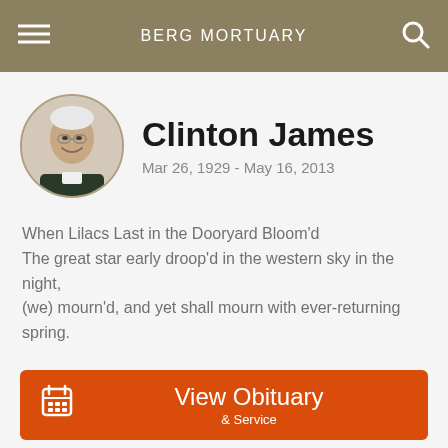BERG MORTUARY
Clinton James
Mar 26, 1929 - May 16, 2013
When Lilacs Last in the Dooryard Bloom'd
The great star early droop'd in the western sky in the night, (we) mourn'd, and yet shall mourn with ever-returning spring.
View Obituary
& Service
Send Flowers